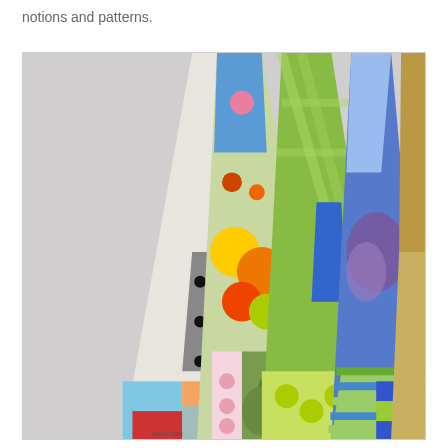notions and patterns.
[Figure (photo): Five colorful patchwork quilt fabric cones or rolled fabric pieces standing upright, displaying various patterns including polka dots, florals, stripes, gingham, and novelty prints in blue, green, orange, yellow, red, and white colors against a light gray background.]